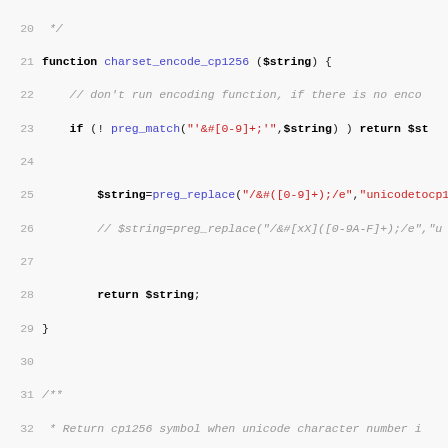Source code snippet showing PHP functions charset_encode_cp1256 and unicodetocp1256 with line numbers 20-51